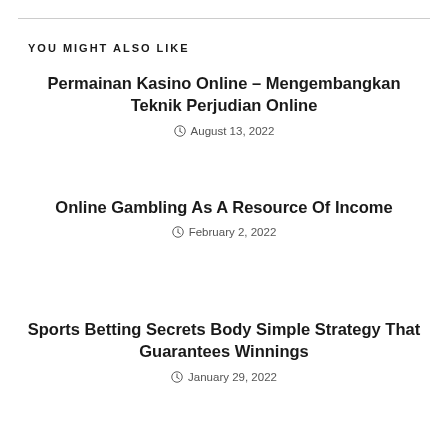YOU MIGHT ALSO LIKE
Permainan Kasino Online – Mengembangkan Teknik Perjudian Online
August 13, 2022
Online Gambling As A Resource Of Income
February 2, 2022
Sports Betting Secrets Body Simple Strategy That Guarantees Winnings
January 29, 2022